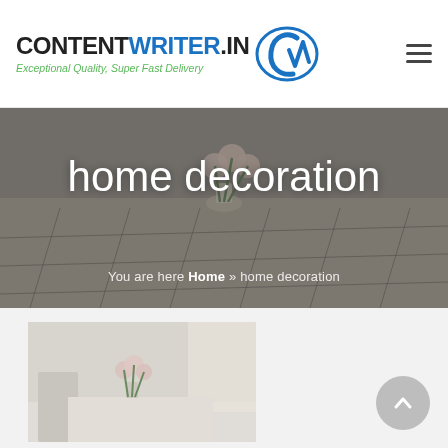CONTENTWRITER.IN — Exceptional Quality, Super Fast Delivery
[Figure (screenshot): ContentWriter.in website header with logo text CONTENTWRITER.IN, tagline 'Exceptional Quality, Super Fast Delivery', a stylized CW icon in blue, and a hamburger menu icon on the right.]
home decoration
You are here Home » home decoration
[Figure (photo): Blurred dining room scene with a white table and chairs, a glass vase with pink roses, and decorative items — used as background for the home decoration category page.]
[Figure (photo): Smaller photo thumbnail of a similar interior scene with chairs and a vase of pink roses on a white table, shown in the content listing area below the hero banner.]